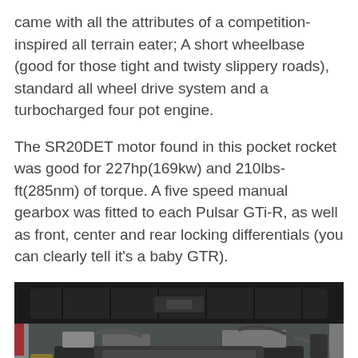came with all the attributes of a competition-inspired all terrain eater; A short wheelbase (good for those tight and twisty slippery roads), standard all wheel drive system and a turbocharged four pot engine.
The SR20DET motor found in this pocket rocket was good for 227hp(169kw) and 210lbs-ft(285nm) of torque. A five speed manual gearbox was fitted to each Pulsar GTi-R, as well as front, center and rear locking differentials (you can clearly tell it's a baby GTR).
[Figure (photo): Engine bay of a Nissan Pulsar GTi-R viewed from above, showing the SR20DET turbocharged engine with intercooler visible at the front, various hoses and components, and the underside of the open hood at the top.]